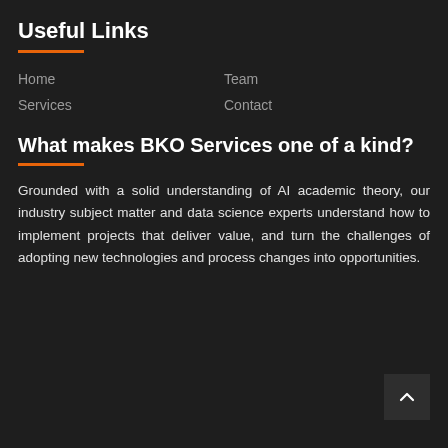Useful Links
Home
Team
Services
Contact
What makes BKO Services one of a kind?
Grounded with a solid understanding of AI academic theory, our industry subject matter and data science experts understand how to implement projects that deliver value, and turn the challenges of adopting new technologies and process changes into opportunities.